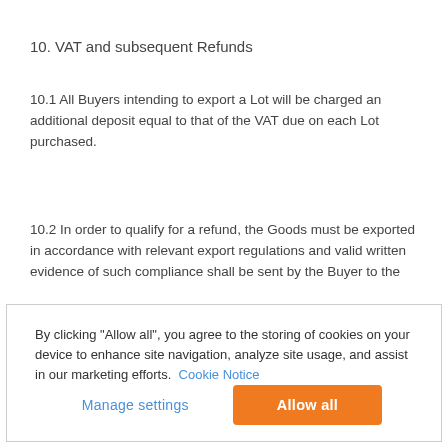10. VAT and subsequent Refunds
10.1 All Buyers intending to export a Lot will be charged an additional deposit equal to that of the VAT due on each Lot purchased.
10.2 In order to qualify for a refund, the Goods must be exported in accordance with relevant export regulations and valid written evidence of such compliance shall be sent by the Buyer to the
By clicking "Allow all", you agree to the storing of cookies on your device to enhance site navigation, analyze site usage, and assist in our marketing efforts. Cookie Notice
Manage settings | Allow all